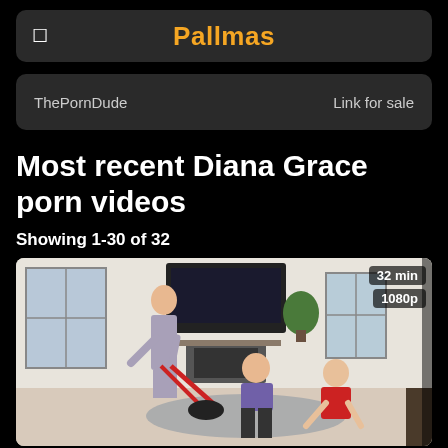Pallmas
ThePornDude    Link for sale
Most recent Diana Grace porn videos
Showing 1-30 of 32
[Figure (photo): Video thumbnail showing three people in a living room scene. Badges show 32 min and 1080p in top right corner.]